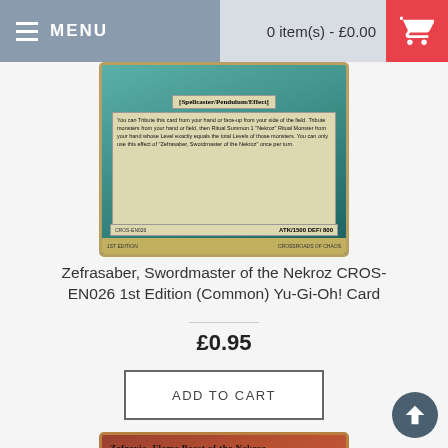MENU   0 item(s) - £0.00
[Figure (photo): Yu-Gi-Oh! card: Zefrasaber, Swordmaster of the Nekroz CROS-EN026. Teal/green card with Spellcaster/Pendulum/Effect type line and card effect text. ATK/1500 DEF/800.]
Zefrasaber, Swordmaster of the Nekroz CROS-EN026 1st Edition (Common) Yu-Gi-Oh! Card
£0.95
ADD TO CART
[Figure (photo): Yu-Gi-Oh! card: Zefraxia, Flame Beast of the Nekroz. Fire-themed card with orange/red background showing a winged creature.]